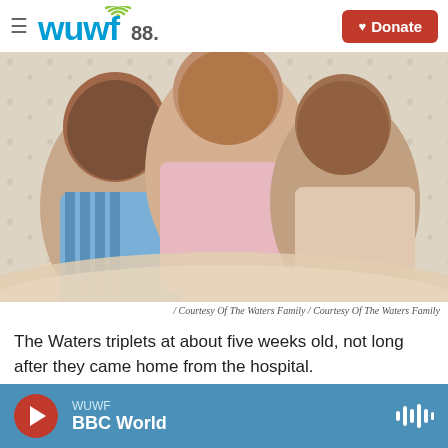WUWF 88.1 | Donate
[Figure (photo): Three newborn triplets (the Waters triplets) swaddled in blankets, lying close together, approximately five weeks old]
/ Courtesy Of The Waters Family / Courtesy Of The Waters Family
The Waters triplets at about five weeks old, not long after they came home from the hospital.
WUWF BBC World